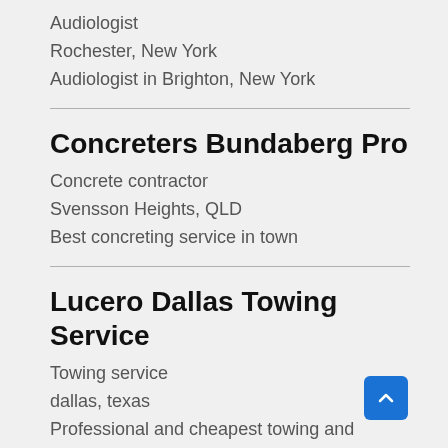Audiologist
Rochester, New York
Audiologist in Brighton, New York
Concreters Bundaberg Pro
Concrete contractor
Svensson Heights, QLD
Best concreting service in town
Lucero Dallas Towing Service
Towing service
dallas, texas
Professional and cheapest towing and roadside assistance